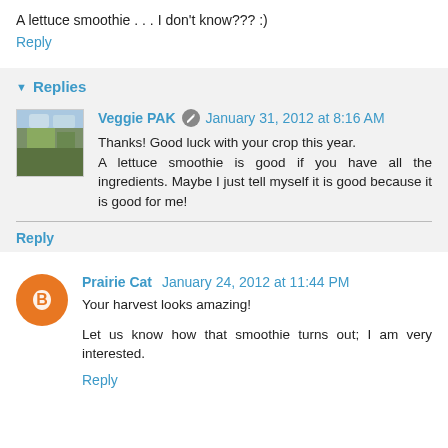A lettuce smoothie . . . I don't know??? :)
Reply
Replies
Veggie PAK  January 31, 2012 at 8:16 AM
Thanks! Good luck with your crop this year. A lettuce smoothie is good if you have all the ingredients. Maybe I just tell myself it is good because it is good for me!
Reply
Prairie Cat  January 24, 2012 at 11:44 PM
Your harvest looks amazing!
Let us know how that smoothie turns out; I am very interested.
Reply